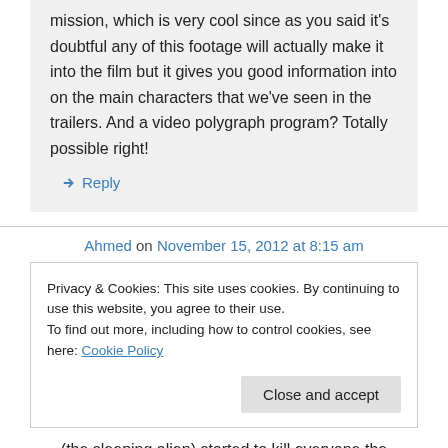mission, which is very cool since as you said it's doubtful any of this footage will actually make it into the film but it gives you good information into on the main characters that we've seen in the trailers. And a video polygraph program? Totally possible right!
↳ Reply
Ahmed on November 15, 2012 at 8:15 am
Privacy & Cookies: This site uses cookies. By continuing to use this website, you agree to their use.
To find out more, including how to control cookies, see here: Cookie Policy
Close and accept
(the sleeping alien) started to kill everyone the